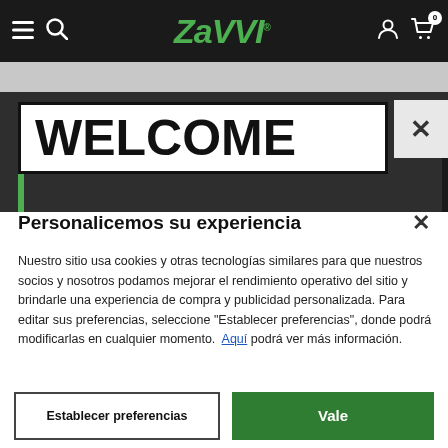[Figure (screenshot): Zavvi e-commerce website header navigation bar with hamburger menu, search icon, Zavvi logo in green italic, user account icon, and shopping cart icon with badge showing 0]
[Figure (screenshot): Grey banner strip below the nav bar]
[Figure (screenshot): Dark background welcome banner showing WELCOME text in a white bordered box with a close X button and a green vertical bar on the left]
Personalicemos su experiencia
Nuestro sitio usa cookies y otras tecnologías similares para que nuestros socios y nosotros podamos mejorar el rendimiento operativo del sitio y brindarle una experiencia de compra y publicidad personalizada. Para editar sus preferencias, seleccione "Establecer preferencias", donde podrá modificarlas en cualquier momento.  Aquí podrá ver más información.
Establecer preferencias
Vale